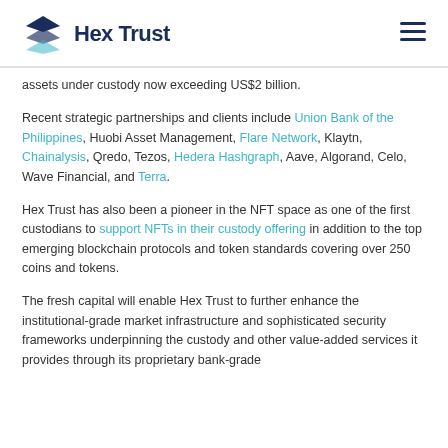Hex Trust
assets under custody now exceeding US$2 billion.
Recent strategic partnerships and clients include Union Bank of the Philippines, Huobi Asset Management, Flare Network, Klaytn, Chainalysis, Qredo, Tezos, Hedera Hashgraph, Aave, Algorand, Celo, Wave Financial, and Terra.
Hex Trust has also been a pioneer in the NFT space as one of the first custodians to support NFTs in their custody offering in addition to the top emerging blockchain protocols and token standards covering over 250 coins and tokens.
The fresh capital will enable Hex Trust to further enhance the institutional-grade market infrastructure and sophisticated security frameworks underpinning the custody and other value-added services it provides through its proprietary bank-grade...